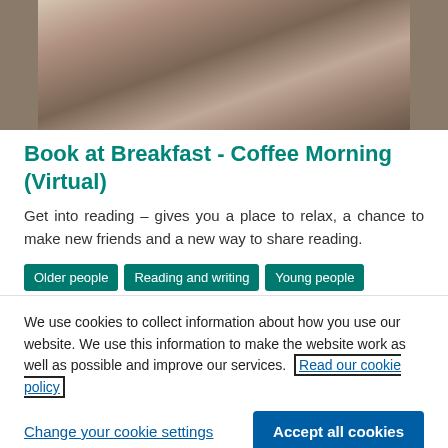[Figure (photo): Person reading a book, close-up of hands and open pages]
Book at Breakfast - Coffee Morning (Virtual)
Get into reading – gives you a place to relax, a chance to make new friends and a new way to share reading.
Older people
Reading and writing
Young people
We use cookies to collect information about how you use our website. We use this information to make the website work as well as possible and improve our services. Read our cookie policy
Change your cookie settings
Accept all cookies